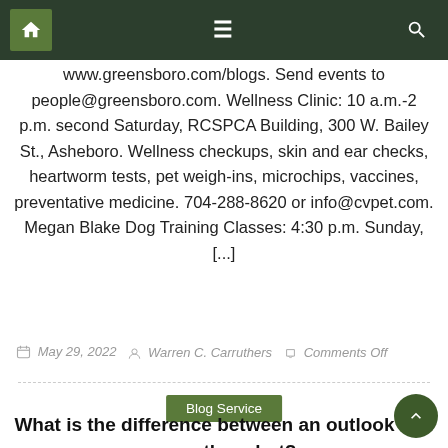Navigation bar with home, menu, and search icons
www.greensboro.com/blogs. Send events to people@greensboro.com. Wellness Clinic: 10 a.m.-2 p.m. second Saturday, RCSPCA Building, 300 W. Bailey St., Asheboro. Wellness checkups, skin and ear checks, heartworm tests, pet weigh-ins, microchips, vaccines, preventative medicine. 704-288-8620 or info@cvpet.com. Megan Blake Dog Training Classes: 4:30 p.m. Sunday, [...]
May 29, 2022   Warren C. Carruthers   Comments Off
Blog Service
What is the difference between an outlook and a weather alert?